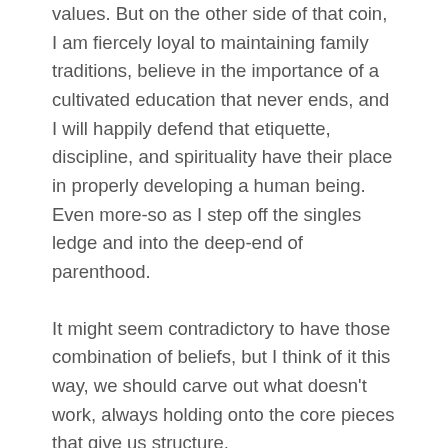values. But on the other side of that coin, I am fiercely loyal to maintaining family traditions, believe in the importance of a cultivated education that never ends, and I will happily defend that etiquette, discipline, and spirituality have their place in properly developing a human being. Even more-so as I step off the singles ledge and into the deep-end of parenthood.
It might seem contradictory to have those combination of beliefs, but I think of it this way, we should carve out what doesn't work, always holding onto the core pieces that give us structure.